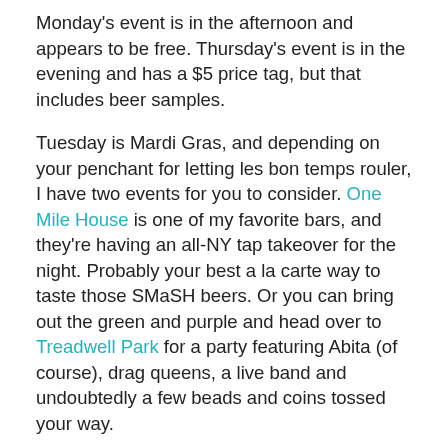Monday's event is in the afternoon and appears to be free. Thursday's event is in the evening and has a $5 price tag, but that includes beer samples.
Tuesday is Mardi Gras, and depending on your penchant for letting les bon temps rouler, I have two events for you to consider. One Mile House is one of my favorite bars, and they're having an all-NY tap takeover for the night. Probably your best a la carte way to taste those SMaSH beers. Or you can bring out the green and purple and head over to Treadwell Park for a party featuring Abita (of course), drag queens, a live band and undoubtedly a few beads and coins tossed your way.
Wednesday is the annual “better beer event” and one of the best to attend all year long: NYC Brewer’s Choice moves to a new venue this year, the Food Sciences Academy at LIU (Ft. Greene)